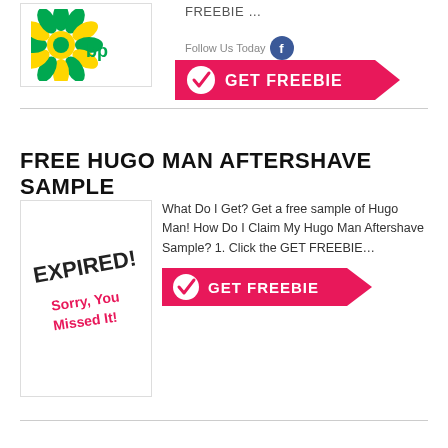[Figure (logo): BP logo — green and yellow sunflower/leaf burst on white background]
FREEBIE …
Follow Us Today
[Figure (other): GET FREEBIE pink arrow button with white checkmark circle]
FREE HUGO MAN AFTERSHAVE SAMPLE
[Figure (other): EXPIRED! Sorry, You Missed It! stamp image on white card]
What Do I Get? Get a free sample of Hugo Man! How Do I Claim My Hugo Man Aftershave Sample? 1. Click the GET FREEBIE…
[Figure (other): GET FREEBIE pink arrow button with white checkmark circle]